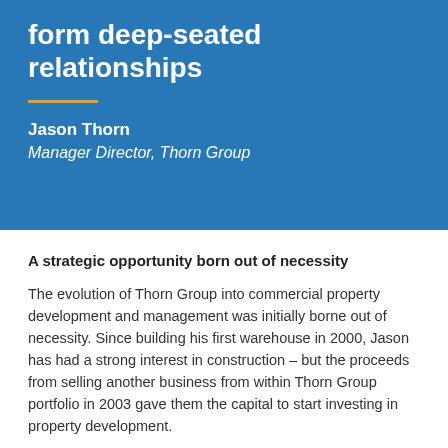form deep-seated relationships
Jason Thorn
Manager Director, Thorn Group
A strategic opportunity born out of necessity
The evolution of Thorn Group into commercial property development and management was initially borne out of necessity. Since building his first warehouse in 2000, Jason has had a strong interest in construction – but the proceeds from selling another business from within Thorn Group portfolio in 2003 gave them the capital to start investing in property development.